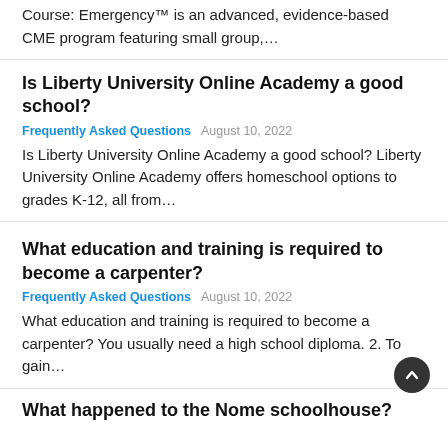Course: Emergency™ is an advanced, evidence-based CME program featuring small group,…
Is Liberty University Online Academy a good school?
Frequently Asked Questions   August 10, 2022
Is Liberty University Online Academy a good school? Liberty University Online Academy offers homeschool options to grades K-12, all from…
What education and training is required to become a carpenter?
Frequently Asked Questions   August 10, 2022
What education and training is required to become a carpenter? You usually need a high school diploma. 2. To gain…
What happened to the Nome schoolhouse?